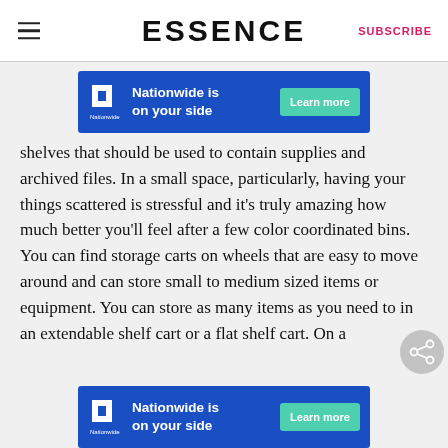ESSENCE | SUBSCRIBE
[Figure (other): Nationwide 'is on your side' advertisement banner with blue background, Nationwide logo, and Learn more button]
shelves that should be used to contain supplies and archived files. In a small space, particularly, having your things scattered is stressful and it's truly amazing how much better you'll feel after a few color coordinated bins. You can find storage carts on wheels that are easy to move around and can store small to medium sized items or equipment. You can store as many items as you need to in an extendable shelf cart or a flat shelf cart. On a
[Figure (other): Nationwide 'is on your side' advertisement banner with blue background, Nationwide logo, and Learn more button (bottom)]